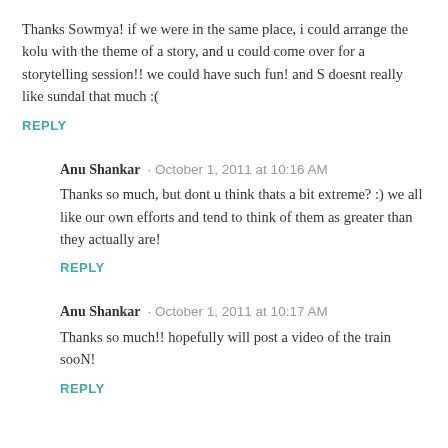Thanks Sowmya! if we were in the same place, i could arrange the kolu with the theme of a story, and u could come over for a storytelling session!! we could have such fun! and S doesnt really like sundal that much :(
REPLY
Anu Shankar · October 1, 2011 at 10:16 AM
Thanks so much, but dont u think thats a bit extreme? :) we all like our own efforts and tend to think of them as greater than they actually are!
REPLY
Anu Shankar · October 1, 2011 at 10:17 AM
Thanks so much!! hopefully will post a video of the train sooN!
REPLY